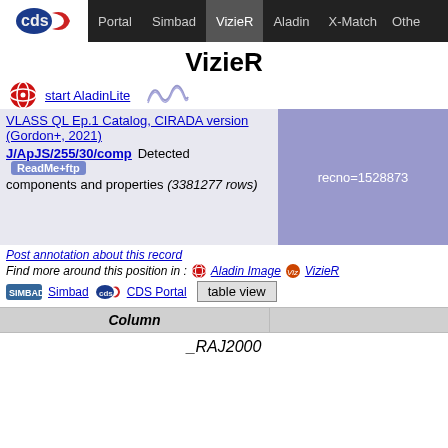Portal | Simbad | VizieR | Aladin | X-Match | Othe
VizieR
start AladinLite
VLASS QL Ep.1 Catalog, CIRADA version (Gordon+, 2021) Detected components and properties (3381277 rows)
J/ApJS/255/30/comp
ReadMe+ftp
recno=1528873
Post annotation about this record
Find more around this position in : Aladin Image VizieR
Simbad CDS Portal table view
| Column |  |
| --- | --- |
| _RAJ2000 |  |
_RAJ2000